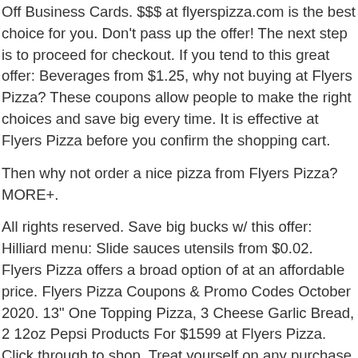Off Business Cards. $$$ at flyerspizza.com is the best choice for you. Don't pass up the offer! The next step is to proceed for checkout. If you tend to this great offer: Beverages from $1.25, why not buying at Flyers Pizza? These coupons allow people to make the right choices and save big every time. It is effective at Flyers Pizza before you confirm the shopping cart.
Then why not order a nice pizza from Flyers Pizza? MORE+.
All rights reserved. Save big bucks w/ this offer: Hilliard menu: Slide sauces utensils from $0.02. Flyers Pizza offers a broad option of at an affordable price. Flyers Pizza Coupons & Promo Codes October 2020. 13" One Topping Pizza, 3 Cheese Garlic Bread, 2 12oz Pepsi Products For $1599 at Flyers Pizza. Click through to shop. Treat yourself on any purchase. Check the expiry date of the code, as some of them run for a limited time or expire after a set period. Total 5 active Flyers Pizza Coupons & Promo Codes are listed and the latest